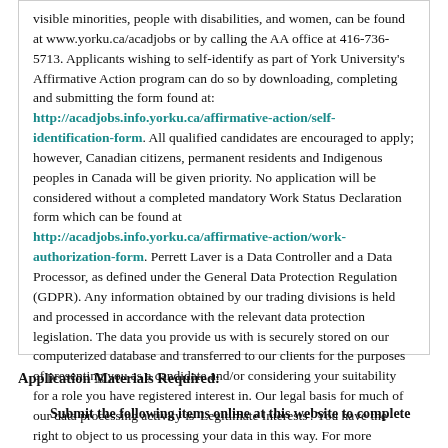visible minorities, people with disabilities, and women, can be found at www.yorku.ca/acadjobs or by calling the AA office at 416-736-5713. Applicants wishing to self-identify as part of York University's Affirmative Action program can do so by downloading, completing and submitting the form found at: http://acadjobs.info.yorku.ca/affirmative-action/self-identification-form. All qualified candidates are encouraged to apply; however, Canadian citizens, permanent residents and Indigenous peoples in Canada will be given priority. No application will be considered without a completed mandatory Work Status Declaration form which can be found at http://acadjobs.info.yorku.ca/affirmative-action/work-authorization-form. Perrett Laver is a Data Controller and a Data Processor, as defined under the General Data Protection Regulation (GDPR). Any information obtained by our trading divisions is held and processed in accordance with the relevant data protection legislation. The data you provide us with is securely stored on our computerized database and transferred to our clients for the purposes of presenting you as a candidate and/or considering your suitability for a role you have registered interest in. Our legal basis for much of our data processing activity is 'Legitimate Interests'. You have the right to object to us processing your data in this way. For more information about this, your rights, and our approach to Data Protection and Privacy, please visit our website http://www.perrettlaver.com/information/privacy-policy/
Application Materials Required:
Submit the following items online at this website to complete